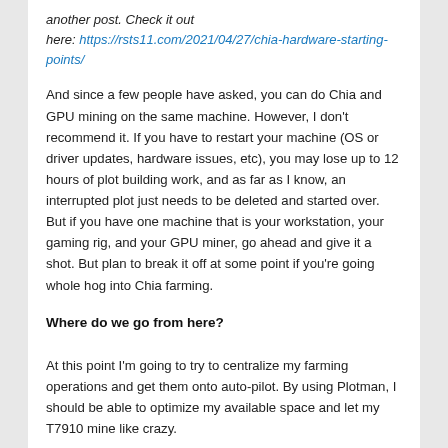another post. Check it out here: https://rsts11.com/2021/04/27/chia-hardware-starting-points/
And since a few people have asked, you can do Chia and GPU mining on the same machine. However, I don't recommend it. If you have to restart your machine (OS or driver updates, hardware issues, etc), you may lose up to 12 hours of plot building work, and as far as I know, an interrupted plot just needs to be deleted and started over. But if you have one machine that is your workstation, your gaming rig, and your GPU miner, go ahead and give it a shot. But plan to break it off at some point if you're going whole hog into Chia farming.
Where do we go from here?
At this point I'm going to try to centralize my farming operations and get them onto auto-pilot. By using Plotman, I should be able to optimize my available space and let my T7910 mine like crazy.